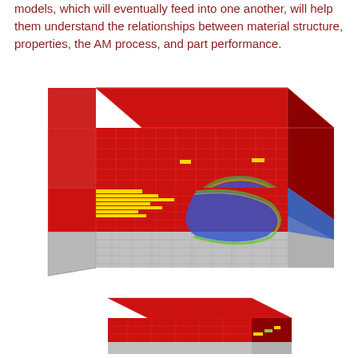models, which will eventually feed into one another, will help them understand the relationships between material structure, properties, the AM process, and part performance.
[Figure (engineering-diagram): 3D finite element model of an additive manufactured part showing a block mesh with color-coded regions: red (top and bulk), blue (melt pool region on right side), gray (substrate/base), yellow and green bands indicating thermal or phase zones on the front face. The mesh is rendered in a perspective isometric view.]
[Figure (engineering-diagram): Partial 3D finite element model block showing the bottom portion/substrate of the same AM simulation, with predominantly red top layer and gray lower substrate, viewed at a slightly different angle. Small yellow/green features visible at right edge.]